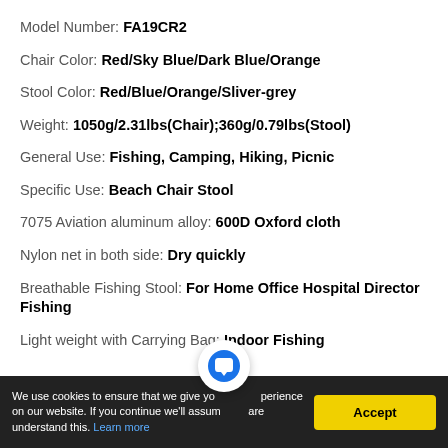Model Number: FA19CR2
Chair Color: Red/Sky Blue/Dark Blue/Orange
Stool Color: Red/Blue/Orange/Sliver-grey
Weight: 1050g/2.31lbs(Chair);360g/0.79lbs(Stool)
General Use: Fishing, Camping, Hiking, Picnic
Specific Use: Beach Chair Stool
7075 Aviation aluminum alloy: 600D Oxford cloth
Nylon net in both side: Dry quickly
Breathable Fishing Stool: For Home Office Hospital Director Fishing
Light weight with Carrying Bag: Indoor Fishing
We use cookies to ensure that we give you the best experience on our website. If you continue we'll assume that you are understand this. Learn more